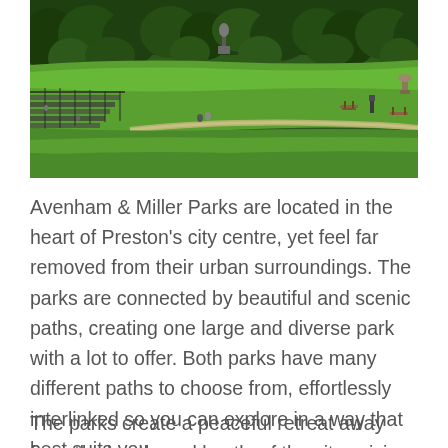[Figure (photo): Aerial/elevated photograph of Avenham and Miller Parks in Preston showing green grassy slopes, winding paths, trees, a statue, benches, and park infrastructure on a sunny day.]
Avenham & Miller Parks are located in the heart of Preston's city centre, yet feel far removed from their urban surroundings. The parks are connected by beautiful and scenic paths, creating one large and diverse park with a lot to offer. Both parks have many different paths to choose from, effortlessly interlinked so you can explore in a way that best suits you.
The parks create a peaceful retreat away from the hustle and bustle of the city, mixing the natural